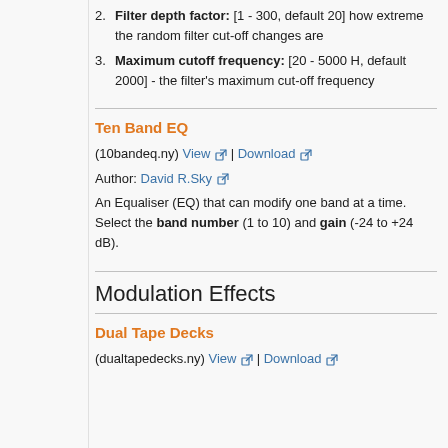Filter depth factor: [1 - 300, default 20] how extreme the random filter cut-off changes are
Maximum cutoff frequency: [20 - 5000 H, default 2000] - the filter's maximum cut-off frequency
Ten Band EQ
(10bandeq.ny) View | Download
Author: David R.Sky
An Equaliser (EQ) that can modify one band at a time. Select the band number (1 to 10) and gain (-24 to +24 dB).
Modulation Effects
Dual Tape Decks
(dualtapedecks.ny) View | Download